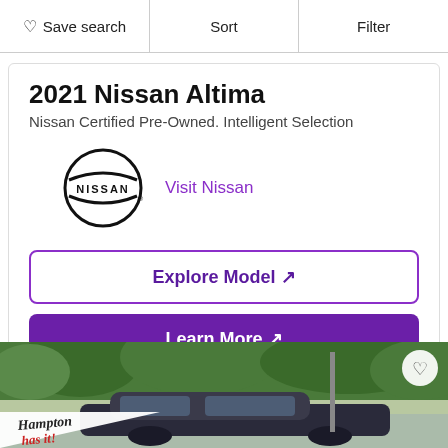Save search  Sort  Filter
2021 Nissan Altima
Nissan Certified Pre-Owned. Intelligent Selection
[Figure (logo): Nissan logo with 'Visit Nissan' link in purple]
Explore Model ↗
Learn More ↗
[Figure (photo): Car dealership photo with 'Hampton has it!' banner, showing a dark sedan in a parking lot with trees in background and a heart/favorite icon overlay]